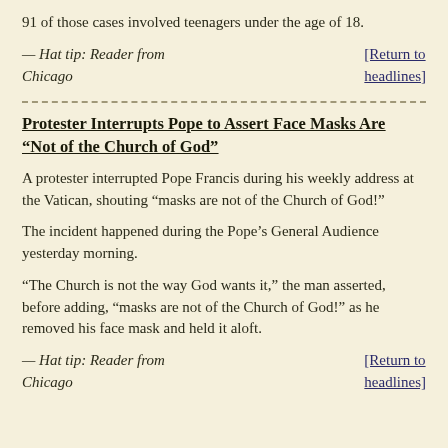91 of those cases involved teenagers under the age of 18.
— Hat tip: Reader from Chicago
[Return to headlines]
Protester Interrupts Pope to Assert Face Masks Are “Not of the Church of God”
A protester interrupted Pope Francis during his weekly address at the Vatican, shouting “masks are not of the Church of God!”
The incident happened during the Pope’s General Audience yesterday morning.
“The Church is not the way God wants it,” the man asserted, before adding, “masks are not of the Church of God!” as he removed his face mask and held it aloft.
— Hat tip: Reader from Chicago
[Return to headlines]